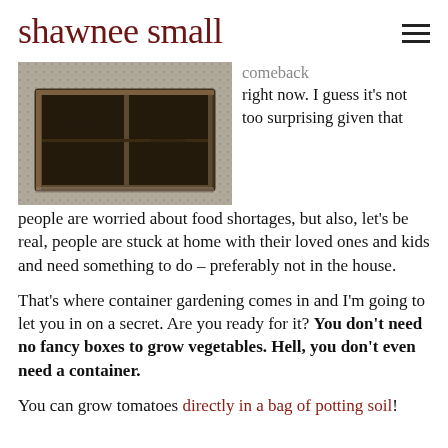shawnee small
[Figure (photo): A rectangular wooden raised garden bed frame filled with dark soil, placed on a gravel or mulch surface, viewed from a slightly elevated angle.]
comeback right now. I guess it's not too surprising given that people are worried about food shortages, but also, let's be real, people are stuck at home with their loved ones and kids and need something to do – preferably not in the house.
That's where container gardening comes in and I'm going to let you in on a secret. Are you ready for it? You don't need no fancy boxes to grow vegetables. Hell, you don't even need a container.
You can grow tomatoes directly in a bag of potting soil!